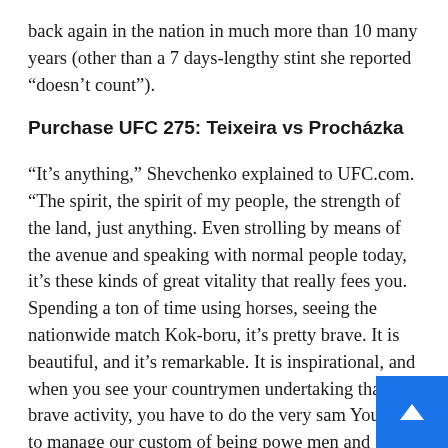back again in the nation in much more than 10 many years (other than a 7 days-lengthy stint she reported “doesn’t count”).
Purchase UFC 275: Teixeira vs Procházka
“It’s anything,” Shevchenko explained to UFC.com. “The spirit, the spirit of my people, the strength of the land, just anything. Even strolling by means of the avenue and speaking with normal people today, it’s these kinds of great vitality that really fees you. Spending a ton of time using horses, seeing the nationwide match Kok-boru, it’s pretty brave. It is beautiful, and it’s remarkable. It is inspirational, and when you see your countrymen undertaking that brave activity, you have to do the very sam You have to manage our custom of being powe men and women.”